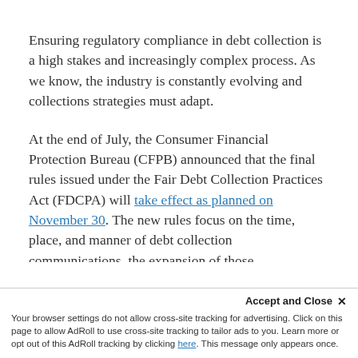Ensuring regulatory compliance in debt collection is a high stakes and increasingly complex process. As we know, the industry is constantly evolving and collections strategies must adapt.
At the end of July, the Consumer Financial Protection Bureau (CFPB) announced that the final rules issued under the Fair Debt Collection Practices Act (FDCPA) will take effect as planned on November 30. The new rules focus on the time, place, and manner of debt collection communications, the expansion of those communications through digital means, and enhanced disclosures that collectors must provide consumers with at the beginning of collection communications.
Accept and Close ✕ Your browser settings do not allow cross-site tracking for advertising. Click on this page to allow AdRoll to use cross-site tracking to tailor ads to you. Learn more or opt out of this AdRoll tracking by clicking here. This message only appears once.